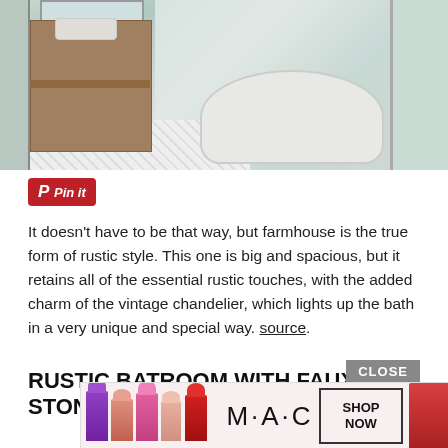[Figure (photo): Bright farmhouse bathroom with wooden vanity, freestanding white bathtub, penny tile floor, and large windows letting in natural light.]
[Figure (other): Red 'Pin it' button (Pinterest share button)]
It doesn't have to be that way, but farmhouse is the true form of rustic style. This one is big and spacious, but it retains all of the essential rustic touches, with the added charm of the vintage chandelier, which lights up the bath in a very unique and special way. source.
RUSTIC BATROOM WITH FAUX STONE WALL
[Figure (other): MAC cosmetics advertisement banner with lipstick tubes in purple, peach, pink and red colors, MAC logo, SHOP NOW button, and CLOSE button overlay.]